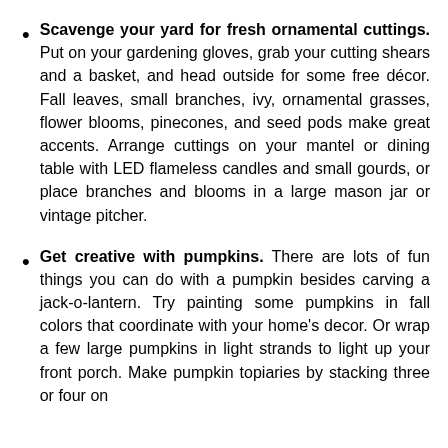Scavenge your yard for fresh ornamental cuttings. Put on your gardening gloves, grab your cutting shears and a basket, and head outside for some free décor. Fall leaves, small branches, ivy, ornamental grasses, flower blooms, pinecones, and seed pods make great accents. Arrange cuttings on your mantel or dining table with LED flameless candles and small gourds, or place branches and blooms in a large mason jar or vintage pitcher.
Get creative with pumpkins. There are lots of fun things you can do with a pumpkin besides carving a jack-o-lantern. Try painting some pumpkins in fall colors that coordinate with your home's decor. Or wrap a few large pumpkins in light strands to light up your front porch. Make pumpkin topiaries by stacking three or four on